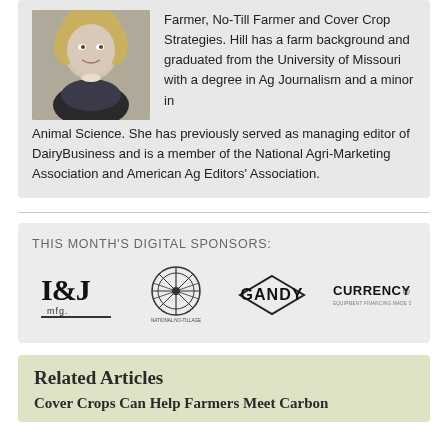Farmer, No-Till Farmer and Cover Crop Strategies. Hill has a farm background and graduated from the University of Missouri with a degree in Ag Journalism and a minor in Animal Science. She has previously served as managing editor of DairyBusiness and is a member of the National Agri-Marketing Association and American Ag Editors' Association.
[Figure (other): Sponsors section with four sponsor logos: I&J mfg., National No-Tillage Conference, GANDY, and CURRENCY]
THIS MONTH'S DIGITAL SPONSORS:
Related Articles
Cover Crops Can Help Farmers Meet Carbon